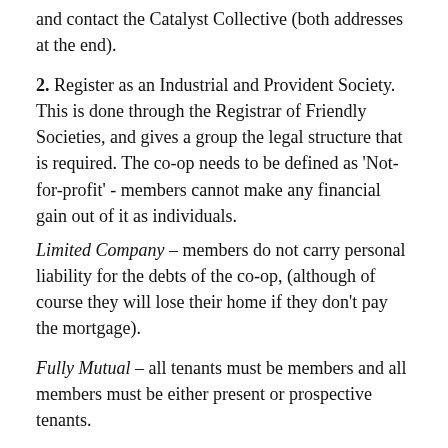and contact the Catalyst Collective (both addresses at the end).
2. Register as an Industrial and Provident Society. This is done through the Registrar of Friendly Societies, and gives a group the legal structure that is required. The co-op needs to be defined as 'Not-for-profit' - members cannot make any financial gain out of it as individuals.
Limited Company – members do not carry personal liability for the debts of the co-op, (although of course they will lose their home if they don't pay the mortgage).
Fully Mutual – all tenants must be members and all members must be either present or prospective tenants.